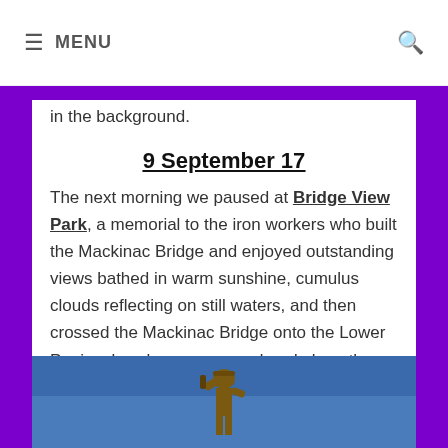≡  MENU    🔍
in the background.
9 September 17
The next morning we paused at Bridge View Park, a memorial to the iron workers who built the Mackinac Bridge and enjoyed outstanding views bathed in warm sunshine, cumulus clouds reflecting on still waters, and then crossed the Mackinac Bridge onto the Lower Peninsula, where we meandered along the western shores of Lake Michigan.
[Figure (photo): A bronze statue silhouetted against a blue sky, appearing to be a worker or iron worker figure, partially visible at the bottom of the page.]